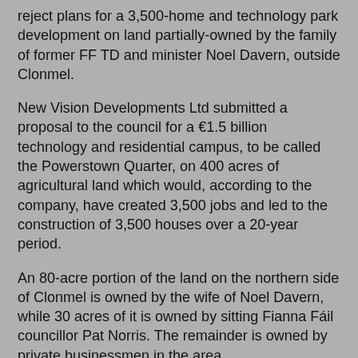reject plans for a 3,500-home and technology park development on land partially-owned by the family of former FF TD and minister Noel Davern, outside Clonmel.
New Vision Developments Ltd submitted a proposal to the council for a €1.5 billion technology and residential campus, to be called the Powerstown Quarter, on 400 acres of agricultural land which would, according to the company, have created 3,500 jobs and led to the construction of 3,500 houses over a 20-year period.
An 80-acre portion of the land on the northern side of Clonmel is owned by the wife of Noel Davern, while 30 acres of it is owned by sitting Fianna Fáil councillor Pat Norris. The remainder is owned by private businessmen in the area.
County manager Ned O'Connor urged councillors not to back the proposal to rezone the land.
The vote was 13 against and nine for, with the votes in favour coming from the eight FF councillors and independent Cllr Eddie O'Meara. Cllr Norris abstained.